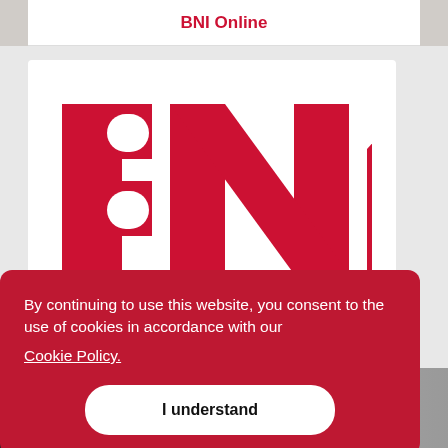BNI Online
[Figure (logo): BNI logo in red on white background with registered trademark symbol]
By continuing to use this website, you consent to the use of cookies in accordance with our
Cookie Policy.
I understand